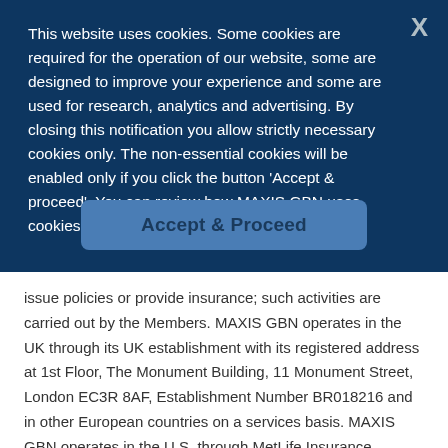This website uses cookies. Some cookies are required for the operation of our website, some are designed to improve your experience and some are used for research, analytics and advertising. By closing this notification you allow strictly necessary cookies only. The non-essential cookies will be enabled only if you click the button 'Accept & proceed'. You can review how MAXIS GBN uses cookies in our cookie policy.
Accept & Proceed
issue policies or provide insurance; such activities are carried out by the Members. MAXIS GBN operates in the UK through its UK establishment with its registered address at 1st Floor, The Monument Building, 11 Monument Street, London EC3R 8AF, Establishment Number BR018216 and in other European countries on a services basis. MAXIS GBN operates in the U.S. through MetLife Insurance